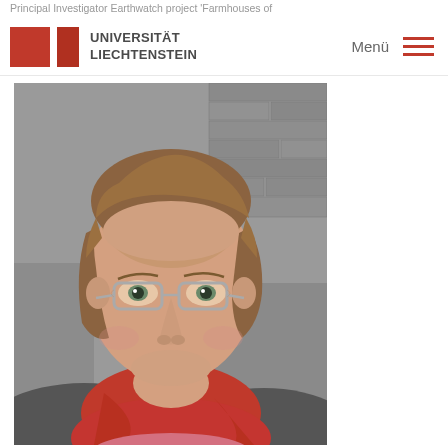Principal Investigator Earthwatch project 'Farmhouses of ...
UNIVERSITÄT LIECHTENSTEIN | Menü
[Figure (photo): Portrait photo of a woman with short brown hair, wearing glasses with silver frames, a red/orange scarf and pink top, smiling, against a grey stone/brick wall background.]